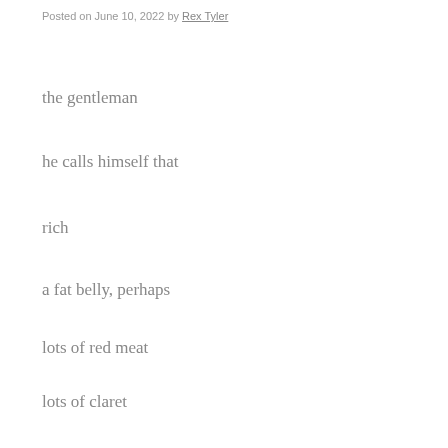Posted on June 10, 2022 by Rex Tyler
the gentleman
he calls himself that
rich
a fat belly, perhaps
lots of red meat
lots of claret
and sweet trifles and tarts
and braces  elite
ideology thats what he’s good at